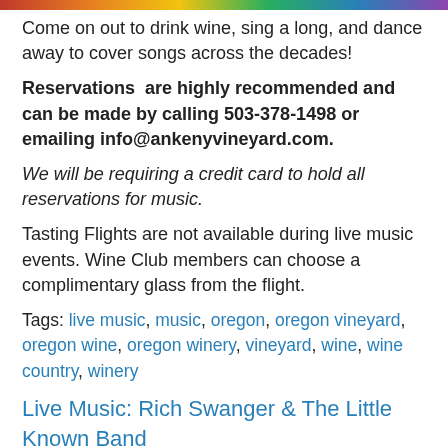[Figure (photo): Colorful decorative image bar at top of page]
Come on out to drink wine, sing a long, and dance away to cover songs across the decades!
Reservations are highly recommended and can be made by calling 503-378-1498 or emailing info@ankenyvineyard.com.
We will be requiring a credit card to hold all reservations for music.
Tasting Flights are not available during live music events. Wine Club members can choose a complimentary glass from the flight.
Tags: live music, music, oregon, oregon vineyard, oregon wine, oregon winery, vineyard, wine, wine country, winery
Live Music: Rich Swanger & The Little Known Band